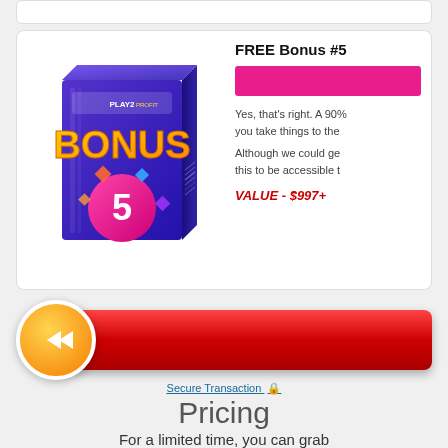[Figure (illustration): Play2Profit Bonus #5 product box with purple/blue design and gold 'BONUS 5' text on pink circle]
FREE Bonus #5
[Figure (illustration): Pink/magenta colored bar]
Yes, that's right. A 90% ... you take things to the ...
Although we could ge... this to be accessible t...
VALUE - $997+
[Figure (illustration): Red CTA button with orange arrow circle on left side]
Secure Transaction 🔒
Pricing
For a limited time, you can grab Play2Profit with early bird discount